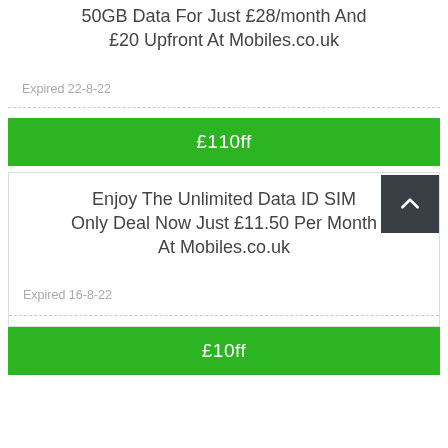50GB Data For Just £28/month And £20 Upfront At Mobiles.co.uk
Expired 22-8-22
£110ff
Enjoy The Unlimited Data ID SIM Only Deal Now Just £11.50 Per Month At Mobiles.co.uk
Expired 16-8-22
£10ff